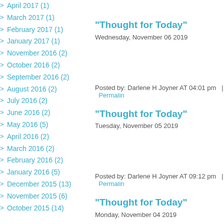April 2017 (1)
March 2017 (1)
February 2017 (1)
January 2017 (1)
November 2016 (2)
October 2016 (2)
September 2016 (2)
August 2016 (2)
July 2016 (2)
June 2016 (2)
May 2016 (5)
April 2016 (2)
March 2016 (2)
February 2016 (2)
January 2016 (5)
December 2015 (13)
November 2015 (6)
October 2015 (14)
"Thought for Today"
Wednesday, November 06 2019
Posted by: Darlene H Joyner AT 04:01 pm  |  Permalink
"Thought for Today"
Tuesday, November 05 2019
Posted by: Darlene H Joyner AT 09:12 pm  |  Permalink
"Thought for Today"
Monday, November 04 2019
Posted by: Darlene H Joyner AT 07:01 pm  |  Permalink